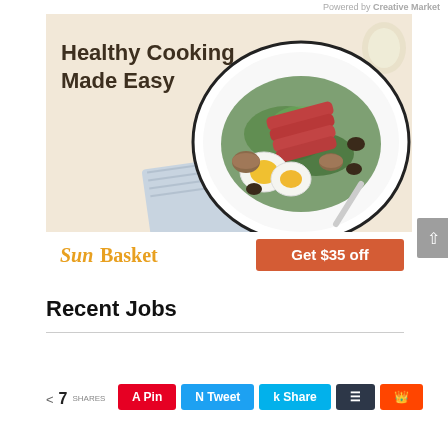Powered by Creative Market
[Figure (infographic): Sun Basket advertisement showing a healthy salad bowl with seared tuna, hard-boiled egg, green beans, mushrooms and greens on a white plate with blue striped napkin. Headline reads 'Healthy Cooking Made Easy'. Below: Sun Basket logo and 'Get $35 off' orange button.]
Recent Jobs
< 7 SHARES
A Pin  N Tweet  k Share  S Buffer  reddit